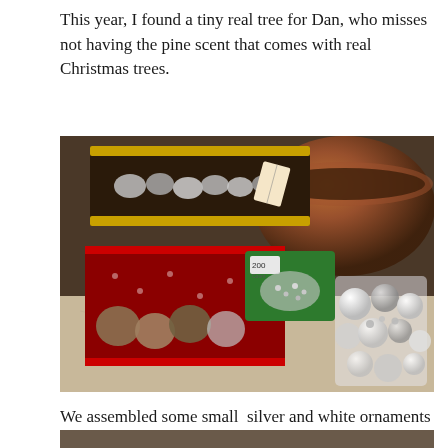This year, I found a tiny real tree for Dan, who misses not having the pine scent that comes with real Christmas trees.
[Figure (photo): A flat-lay photo showing Christmas ornament boxes with silver ornaments, a green packet of 200 ornament hooks, a bag of small silver and white ball ornaments, and a copper/bronze bowl in the background on a granite countertop.]
We assembled some small silver and white ornaments for the little tree.
[Figure (photo): Partial view of another photo at the bottom of the page, cut off.]